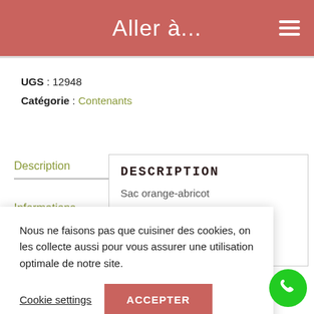Aller à...
UGS : 12948
Catégorie : Contenants
Description
Informations
DESCRIPTION
Sac orange-abricot
Nous ne faisons pas que cuisiner des cookies, on les collecte aussi pour vous assurer une utilisation optimale de notre site.
Cookie settings
ACCEPTER